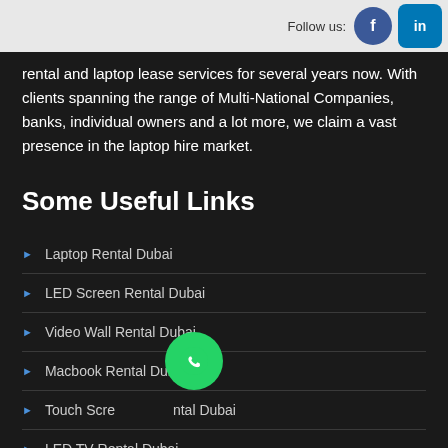Follow us:
rental and laptop lease services for several years now. With clients spanning the range of Multi-National Companies, banks, individual owners and a lot more, we claim a vast presence in the laptop hire market.
Some Useful Links
Laptop Rental Dubai
LED Screen Rental Dubai
Video Wall Rental Dubai
Macbook Rental Dubai
Touch Screen Rental Dubai
LED TV Rental Dubai